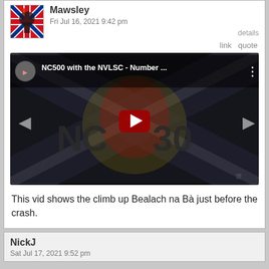Mawsley
Fri Jul 16, 2021 9:42 pm
details
link   quote
[Figure (screenshot): Embedded YouTube video thumbnail showing 'NC500 with the NVLSC - Number ...' with a dark background showing a Scottish saltire flag overlaid with a lion rampant and 'NC500' text, with a red play button in the center]
This vid shows the climb up Bealach na Bà just before the crash.
NickJ
Sat Jul 17, 2021 9:52 pm